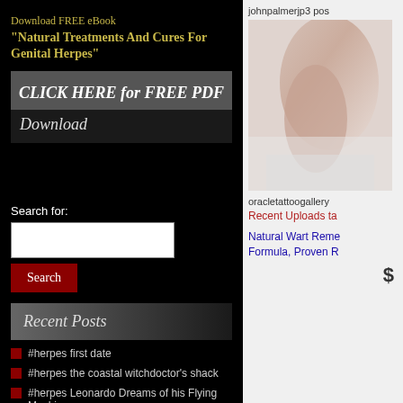Download FREE eBook
“Natural Treatments And Cures For Genital Herpes”
[Figure (other): Button: CLICK HERE for FREE PDF Download]
Search for:
[Figure (other): Search input box]
[Figure (other): Search button]
Recent Posts
#herpes first date
#herpes the coastal witchdoctor’s shack
#herpes Leonardo Dreams of his Flying Machine
#herpes Udar Sanjivani Syrup For Permanent
johnpalmerjp3 pos
[Figure (photo): Close-up photo of a hand or skin]
oracletattoogallery
Recent Uploads ta
Natural Wart Reme Formula, Proven R
$